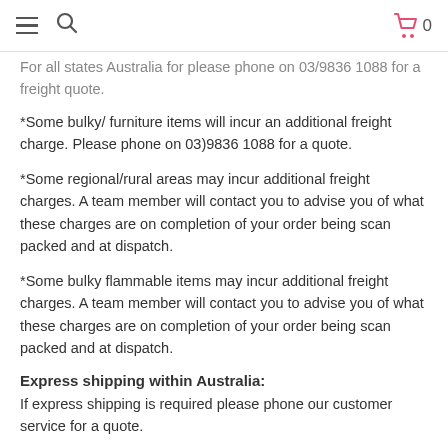≡ 🔍  [cart icon] 0
For all states Australia for please phone on 03/9836 1088 for a freight quote.
*Some bulky/ furniture items will incur an additional freight charge. Please phone on 03)9836 1088 for a quote.
*Some regional/rural areas may incur additional freight charges. A team member will contact you to advise you of what these charges are on completion of your order being scan packed and at dispatch.
*Some bulky flammable items may incur additional freight charges. A team member will contact you to advise you of what these charges are on completion of your order being scan packed and at dispatch.
Express shipping within Australia:
If express shipping is required please phone our customer service for a quote.
International shipping: